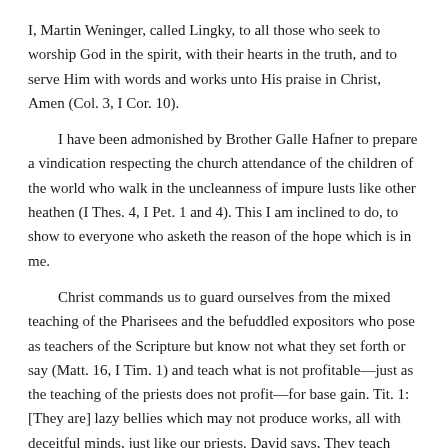I, Martin Weninger, called Lingky, to all those who seek to worship God in the spirit, with their hearts in the truth, and to serve Him with words and works unto His praise in Christ, Amen (Col. 3, I Cor. 10).
I have been admonished by Brother Galle Hafner to prepare a vindication respecting the church attendance of the children of the world who walk in the uncleanness of impure lusts like other heathen (I Thes. 4, I Pet. 1 and 4). This I am inclined to do, to show to everyone who asketh the reason of the hope which is in me.
Christ commands us to guard ourselves from the mixed teaching of the Pharisees and the befuddled expositors who pose as teachers of the Scripture but know not what they set forth or say (Matt. 16, I Tim. 1) and teach what is not profitable—just as the teaching of the priests does not profit—for base gain. Tit. 1: [They are] lazy bellies which may not produce works, all with deceitful minds, just like our priests. David says, They teach only sins, and glory in their pride and speak vain contradictions (Ps. 59), just as our priests also do now, teaching sins and hardening [people] in sins with their frivolous teaching, as it stands in Ezekiel 13 and Jeremiah 23. They minimize to the people the shadow of the wantonness of their life of sin (Jer. 8, 6, II Pet. 2), saying peace when there is no peace and promising freedom to those who ridicule God with their doings and walk after the lust and desire of their evil heart (Jer. 23, II Pet. 2), and they themselves are servants of corruption and sin (Rom. 6, John 8). They are called the Christians, even pious Christians and Brethren, who walk in darkness and have no fellowship with the